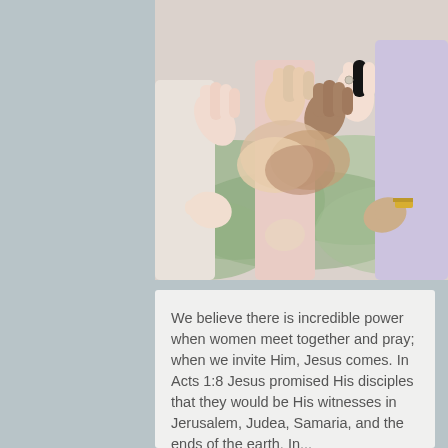[Figure (photo): A group of women of diverse ethnicities holding hands together in a circle, photographed from above, with green foliage visible in the background. Some women are wearing colorful clothing including lavender and white.]
We believe there is incredible power when women meet together and pray; when we invite Him, Jesus comes. In Acts 1:8 Jesus promised His disciples that they would be His witnesses in Jerusalem, Judea, Samaria, and the ends of the earth. In...